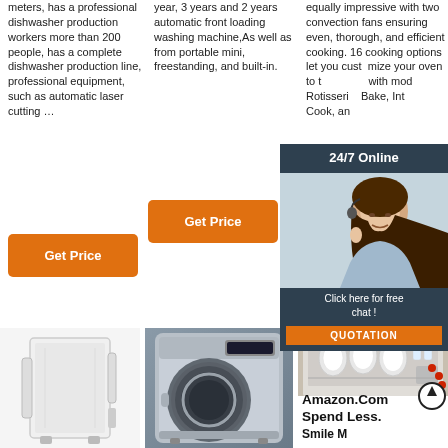meters, has a professional dishwasher production workers more than 200 people, has a complete dishwasher production line, professional equipment, such as automatic laser cutting …
[Figure (other): Orange 'Get Price' button]
year, 3 years and 2 years automatic front loading washing machine,As well as from portable mini, freestanding, and built-in.
[Figure (other): Orange 'Get Price' button]
equally impressive with two convection fans ensuring even, thorough, and efficient cooking. 16 cooking options let you customize your oven to the fullest with modes like Rotisserie, Convection Bake, Interior Light Cook, an…
[Figure (other): Orange 'Get Price' button (partially visible)]
[Figure (other): 24/7 Online chat overlay with woman customer service representative, 'Click here for free chat!' and QUOTATION button]
[Figure (photo): White dishwasher appliance, back/side view]
[Figure (photo): Silver front-loading washing machine]
[Figure (photo): Open dishwasher loaded with dishes in a kitchen]
Amazon.Com Spend Less. Smile More.